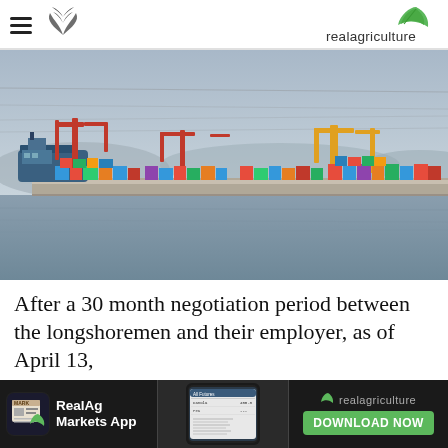realagriculture
[Figure (photo): A port scene photographed from the water, showing cargo ships, red shipping cranes, and colorful shipping containers along a pier, with hills in the hazy background.]
After a 30 month negotiation period between the longshoremen and their employer, as of April 13,
[Figure (screenshot): Advertisement banner for RealAg Markets App showing app icon, phone screenshot of app, realagriculture logo and DOWNLOAD NOW button.]